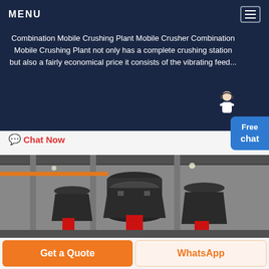MENU
Combination Mobile Crushing Plant Mobile Crusher Combination Mobile Crushing Plant not only has a complete crushing station but also a fairly economical price it consists of the vibrating feed...
Chat Now
[Figure (photo): Industrial cone crushers inside a factory building with steel structure, orange accents, grey machinery]
Get a Quote
WhatsApp